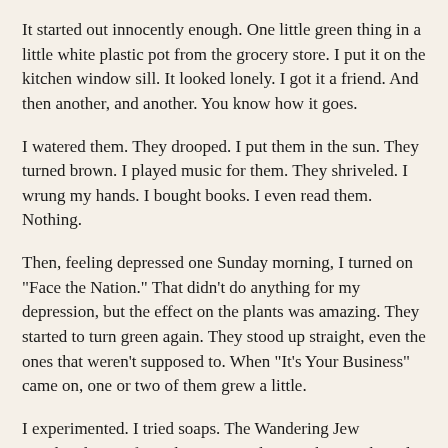It started out innocently enough. One little green thing in a little white plastic pot from the grocery store. I put it on the kitchen window sill. It looked lonely. I got it a friend. And then another, and another. You know how it goes.
I watered them. They drooped. I put them in the sun. They turned brown. I played music for them. They shriveled. I wrung my hands. I bought books. I even read them. Nothing.
Then, feeling depressed one Sunday morning, I turned on "Face the Nation." That didn't do anything for my depression, but the effect on the plants was amazing. They started to turn green again. They stood up straight, even the ones that weren't supposed to. When "It's Your Business" came on, one or two of them grew a little.
I experimented. I tried soaps. The Wandering Jew wandered away from the set. I tried game shows. The palm folded its fronds. Discouraged, I was about to turn off the TV when "NEWSBREAK" came on. It was stupefying. The plants opened up and strained toward the tube. I knew then that I had them. No longer would I have to hide in shame from all my green-thumbed friends.